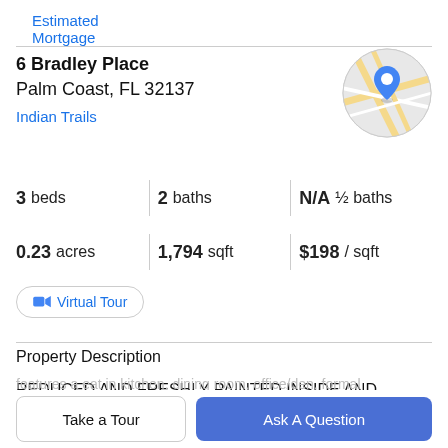Estimated Mortgage
6 Bradley Place
Palm Coast, FL 32137
Indian Trails
[Figure (map): Circular map thumbnail showing street map with a blue location pin marker]
3 beds  2 baths  N/A ½ baths  0.23 acres  1,794 sqft  $198 / sqft
Virtual Tour
Property Description
REDUCED AND FRESHLY PAINTED INSIDE AND INCLUDING THE GARAGE AREA. This brick 3 Bedroom,
features a eat in kitchen, dining room, office/den, formal
Take a Tour
Ask A Question